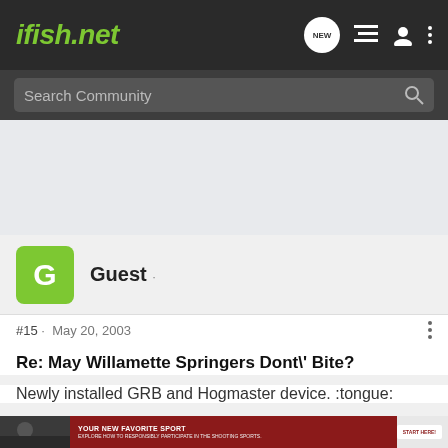ifish.net
Search Community
[Figure (screenshot): User avatar: green rounded square with white letter G, beside username Guest]
Guest ·
#15 · May 20, 2003
Re: May Willamette Springers Dont\' Bite?
Newly installed GRB and Hogmaster device. :tongue:
[Figure (photo): Advertisement banner: photo of people on left, red background with text YOUR NEW FAVORITE SPORT, EXPLORE HOW TO RESPONSIBLY PARTICIPATE IN THE SHOOTING SPORTS. START HERE! button]